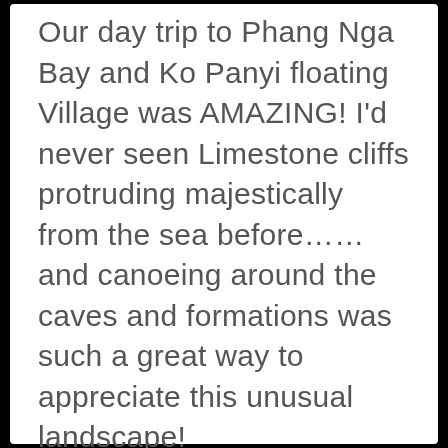…few highlights from my summer trip… Our day trip to Phang Nga Bay and Ko Panyi floating Village was AMAZING! I'd never seen Limestone cliffs protruding majestically from the sea before……and canoeing around the caves and formations was such a great way to appreciate this unusual landscape!